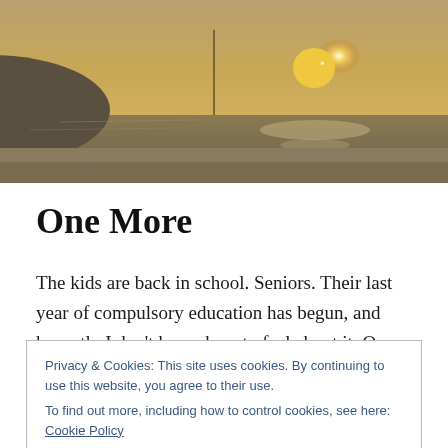[Figure (photo): Sunset beach scene with ocean, waves, sandy shore, and a large sun on the horizon with a silhouetted coastal hill]
One More
The kids are back in school. Seniors. Their last year of compulsory education has begun, and honestly I don't know how to feel about it. On a abstract level, I understand that they are nine months away from
Privacy & Cookies: This site uses cookies. By continuing to use this website, you agree to their use.
To find out more, including how to control cookies, see here: Cookie Policy
Close and accept